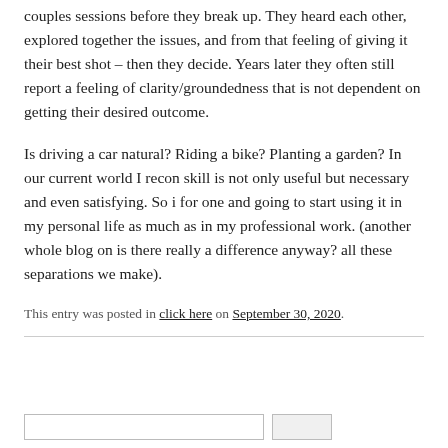couples sessions before they break up. They heard each other, explored together the issues, and from that feeling of giving it their best shot – then they decide. Years later they often still report a feeling of clarity/groundedness that is not dependent on getting their desired outcome.
Is driving a car natural? Riding a bike? Planting a garden? In our current world I recon skill is not only useful but necessary and even satisfying. So i for one and going to start using it in my personal life as much as in my professional work. (another whole blog on is there really a difference anyway? all these separations we make).
This entry was posted in click here on September 30, 2020.